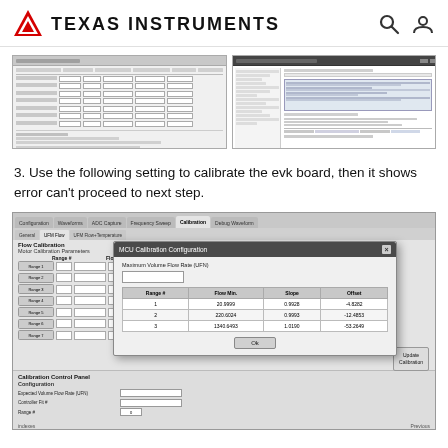Texas Instruments
[Figure (screenshot): Two screenshots: left shows a calibration table UI with Range parameters, Flow Minimum, Number of Points, Error Threshold, Slope, Offset columns; right shows a software/IDE window with code or configuration text.]
3. Use the following setting to calibrate the evk board, then it shows error can't proceed to next step.
[Figure (screenshot): Screenshot of a calibration software showing Flow Calibration with Motor Calibration Parameters table (Range #, Flow Minimum, Number of Points, Error Threshold (%), Slope, Offset) with ranges 1-7 listed. A modal dialog 'MCU Calibration Configuration' is shown with Maximum Volume Flow Rate field and a table with Range #, Flow Min., Slope, Offset columns showing 3 rows of data: (1, 20.9999, 0.9928, -4.8282), (2, 220.6024, 0.9993, -12.4853), (3, 1340.6493, 1.0190, -53.2649). OK button at bottom. An 'Update Calibration' button is visible on the right.]